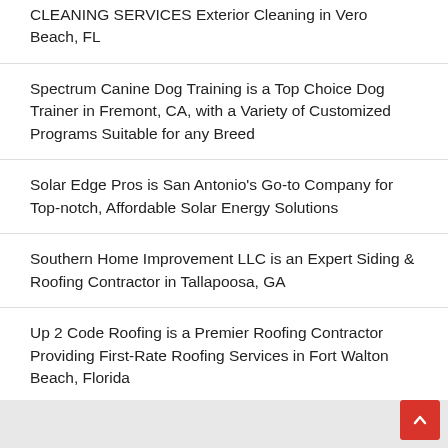CLEANING SERVICES Exterior Cleaning in Vero Beach, FL
Spectrum Canine Dog Training is a Top Choice Dog Trainer in Fremont, CA, with a Variety of Customized Programs Suitable for any Breed
Solar Edge Pros is San Antonio's Go-to Company for Top-notch, Affordable Solar Energy Solutions
Southern Home Improvement LLC is an Expert Siding & Roofing Contractor in Tallapoosa, GA
Up 2 Code Roofing is a Premier Roofing Contractor Providing First-Rate Roofing Services in Fort Walton Beach, Florida